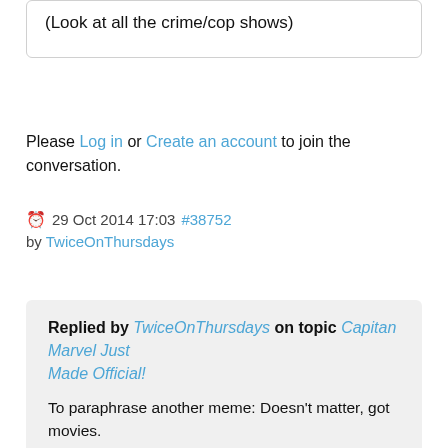(Look at all the crime/cop shows)
Please Log in or Create an account to join the conversation.
29 Oct 2014 17:03 #38752
by TwiceOnThursdays
Replied by TwiceOnThursdays on topic Capitan Marvel Just Made Official!
To paraphrase another meme: Doesn't matter, got movies.

That is, at this point it'd be hard to stop the juggernaut from making the slated DC/Marvel movies (contracts, scheduling, etc). That means no matter what happens, we'll likely get Wonder Woman and Captain Marvel. I suppose